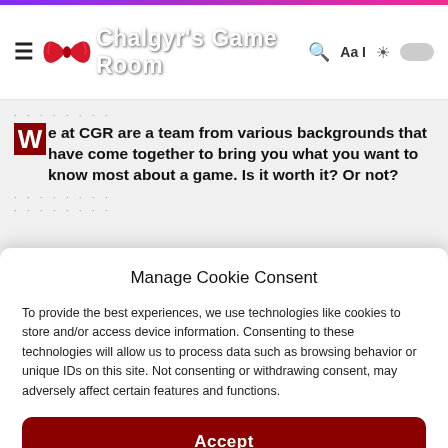Chalgyr's Game Room
We at CGR are a team from various backgrounds that have come together to bring you what you want to know most about a game. Is it worth it? Or not?
Manage Cookie Consent
To provide the best experiences, we use technologies like cookies to store and/or access device information. Consenting to these technologies will allow us to process data such as browsing behavior or unique IDs on this site. Not consenting or withdrawing consent, may adversely affect certain features and functions.
Accept
Cookie Policy  Privacy Statement